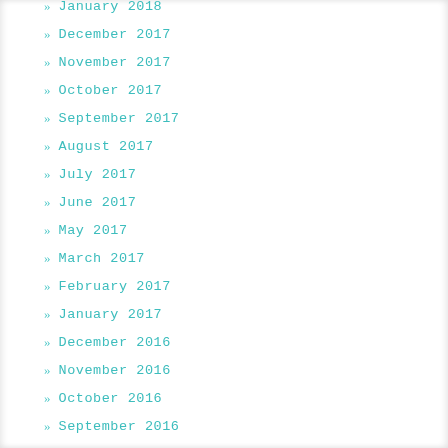» January 2018
» December 2017
» November 2017
» October 2017
» September 2017
» August 2017
» July 2017
» June 2017
» May 2017
» March 2017
» February 2017
» January 2017
» December 2016
» November 2016
» October 2016
» September 2016